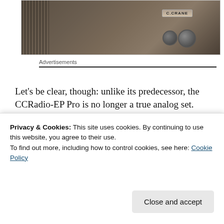[Figure (photo): Close-up photo of a C.CRANE brand radio with brown/tan finish, speaker grille on left, and two control knobs visible on the lower right]
Advertisements
Let’s be clear, though: unlike its predecessor, the CCRadio-EP Pro is no longer a true analog set.
Despite
[Figure (schematic): Partial view of FM/SW radio schematic diagram]
Privacy & Cookies: This site uses cookies. By continuing to use this website, you agree to their use.
To find out more, including how to control cookies, see here: Cookie Policy
Close and accept